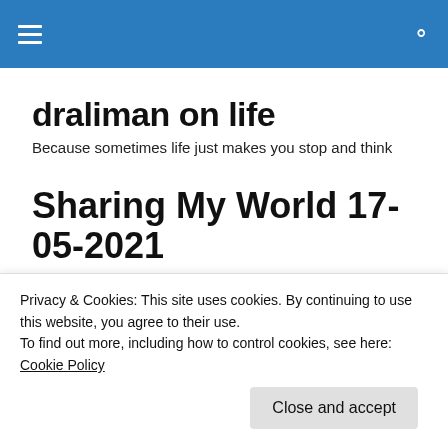draliman on life — site navigation header bar
draliman on life
Because sometimes life just makes you stop and think
Sharing My World 17-05-2021
Here is my post for Melanie's Share Your World.
[Figure (photo): Dark night sky photo strip, partially visible]
Privacy & Cookies: This site uses cookies. By continuing to use this website, you agree to their use.
To find out more, including how to control cookies, see here: Cookie Policy
Close and accept